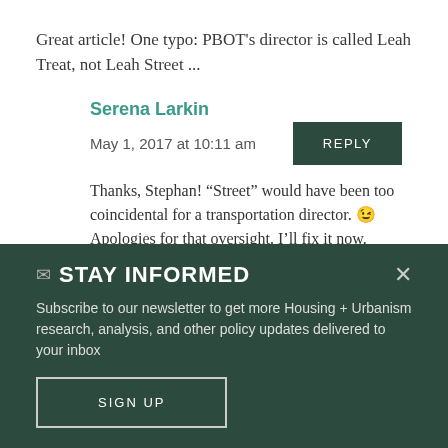Great article! One typo: PBOT's director is called Leah Treat, not Leah Street ...
Serena Larkin
May 1, 2017 at 10:11 am
Thanks, Stephan! “Street” would have been too coincidental for a transportation director. 😉 Apologies for that oversight. I’ll fix it now. Happy Bike Month!
✉ STAY INFORMED
Subscribe to our newsletter to get more Housing + Urbanism research, analysis, and other policy updates delivered to your inbox
SIGN UP